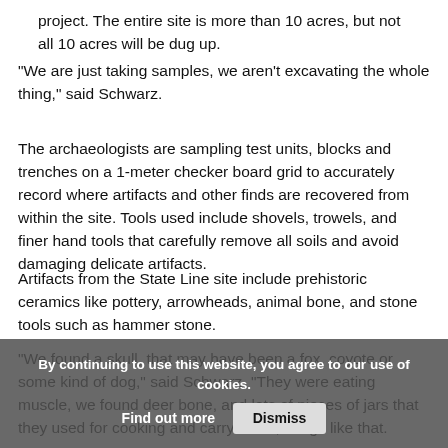project. The entire site is more than 10 acres, but not all 10 acres will be dug up.
"We are just taking samples, we aren't excavating the whole thing," said Schwarz.
The archaeologists are sampling test units, blocks and trenches on a 1-meter checker board grid to accurately record where artifacts and other finds are recovered from within the site. Tools used include shovels, trowels, and finer hand tools that carefully remove all soils and avoid damaging delicate artifacts.
Artifacts from the State Line site include prehistoric ceramics like pottery, arrowheads, animal bone, and stone tools such as hammer stone.
"We found a skull, that may have been a fox, coyote or some kind of dog," said Schwarz. "They were eating muscle, we found deer bone, and lots of pieces of jars that they used for cooking and carry water, things like that.
By continuing to use this website, you agree to our use of cookies. Find out more   Dismiss